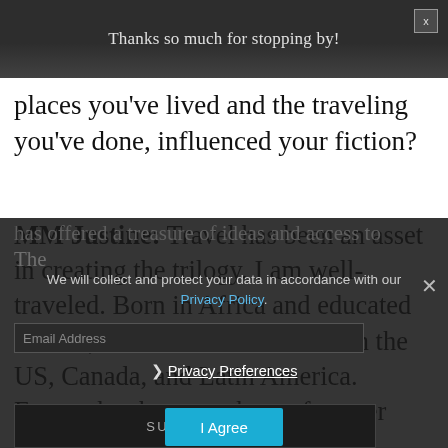Thanks so much for stopping by!
places you've lived and the traveling you've done, influenced your fiction?
MM Justine: Travel has been an asset in creating the trilogy. I am well-traveled. Born in Africa and educated in Asia, I have lived on and off in the US, Canada, and Latin America. Europe has been my home for over thirty years. Travel has offered a treasure of ideas and access to
We will collect and protect your data in accordance with our Privacy Policy.
❯ Privacy Preferences
Email Address
SUBSCRIBE
I Agree